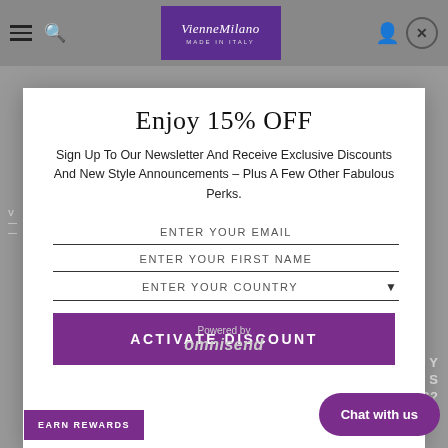[Figure (screenshot): Website header with hamburger menu, search icon, VienneMilano Made In Italy logo in purple box, person icon, and close circle button. Gray background behind.]
Enjoy 15% OFF
Sign Up To Our Newsletter And Receive Exclusive Discounts And New Style Announcements – Plus A Few Other Fabulous Perks.
ENTER YOUR EMAIL
ENTER YOUR FIRST NAME
ENTER YOUR COUNTRY
ACTIVATE DISCOUNT
Powered by omnisend
EARN REWARDS
Chat with us